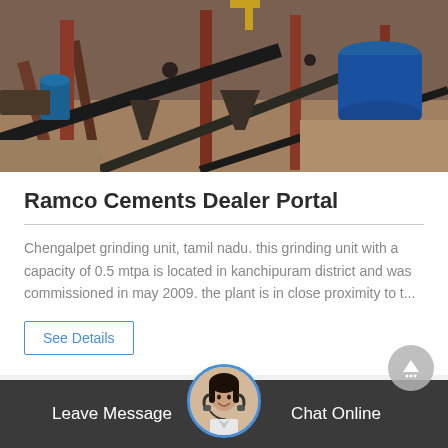[Figure (photo): Aerial view of an industrial cement grinding plant with conveyor belts, metal structures, machinery, and large blue cylindrical equipment]
Ramco Cements Dealer Portal
Chengalpet grinding unit, tamil nadu. this grinding unit with a capacity of 0.5 mtpa is located in kanchipuram district and was commissioned in may 2009. the plant is in close proximity to t...
See Details
Leave Message | Chat Online